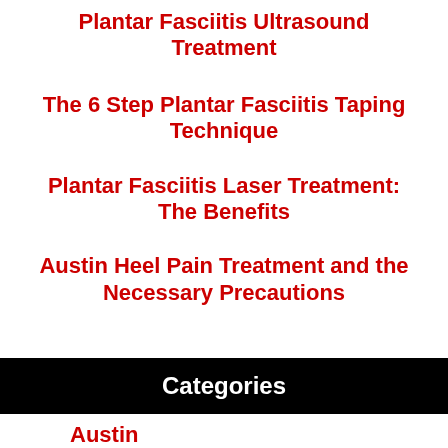Plantar Fasciitis Ultrasound Treatment
The 6 Step Plantar Fasciitis Taping Technique
Plantar Fasciitis Laser Treatment: The Benefits
Austin Heel Pain Treatment and the Necessary Precautions
Categories
Austin